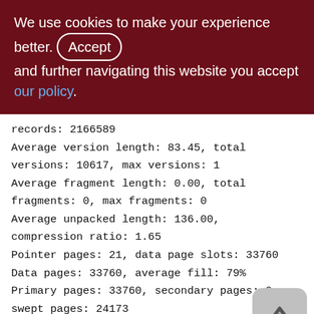We use cookies to make your experience better. By accepting and further navigating this website you accept our policy.
records: 2166589
Average version length: 83.45, total versions: 10617, max versions: 1
Average fragment length: 0.00, total fragments: 0, max fragments: 0
Average unpacked length: 136.00, compression ratio: 1.65
Pointer pages: 21, data page slots: 33760
Data pages: 33760, average fill: 79%
Primary pages: 33760, secondary pages: 0, swept pages: 24173
Empty pages: 19, full pages: 32315
Fill distribution: